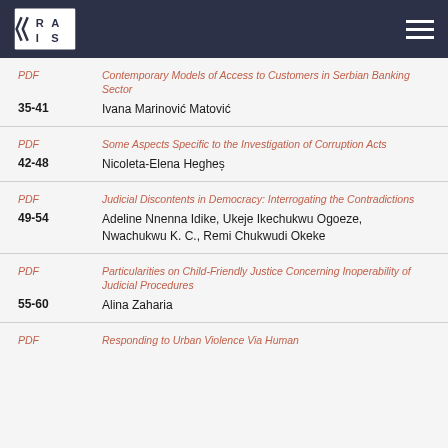RAIS
PDF | Contemporary Models of Access to Customers in Serbian Banking Sector | 35-41 | Ivana Marinović Matović
PDF | Some Aspects Specific to the Investigation of Corruption Acts | 42-48 | Nicoleta-Elena Heghes
PDF | Judicial Discontents in Democracy: Interrogating the Contradictions | 49-54 | Adeline Nnenna Idike, Ukeje Ikechukwu Ogoeze, Nwachukwu K. C., Remi Chukwudi Okeke
PDF | Particularities on Child-Friendly Justice Concerning Inoperability of Judicial Procedures | 55-60 | Alina Zaharia
PDF | Responding to Urban Violence Via Human...